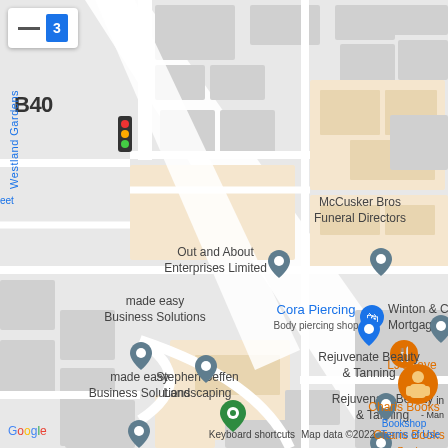[Figure (map): Google Maps screenshot showing a street-level map of an area with road B40 (Westland Gardens), featuring several business location pins: Out and About Enterprises Limited, McCusker Bros Funeral Directors, Cora Piercing (Body piercing shop), Winton & Co Mortgage Ad, made easy Business Solutions, Rejuvenate Beauty & Tanning, Stephen Seffen Landscaping, LJ's Taverne Grill, Charis Books (Book shop). Map data ©2022. Google logo at bottom left. Keyboard shortcuts and Terms of Use links at bottom.]